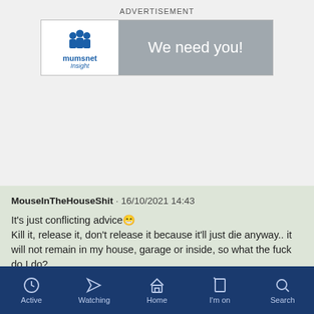ADVERTISEMENT
[Figure (screenshot): Mumsnet Insight advertisement banner with logo on left and 'We need you!' text on right]
MouseInTheHouseShit · 16/10/2021 14:43

It's just conflicting advice😁
Kill it, release it, don't release it because it'll just die anyway.. it will not remain in my house, garage or inside, so what the fuck do I do?
Active  Watching  Home  I'm on  Search